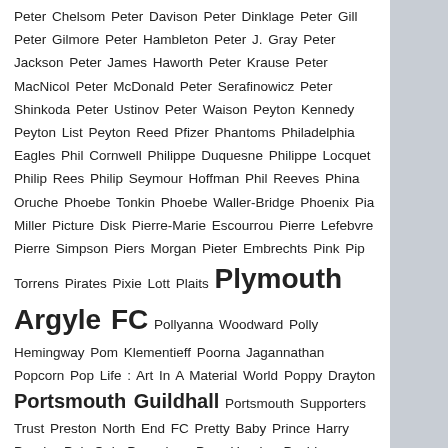Peter Chelsom Peter Davison Peter Dinklage Peter Gill Peter Gilmore Peter Hambleton Peter J. Gray Peter Jackson Peter James Haworth Peter Krause Peter MacNicol Peter McDonald Peter Serafinowicz Peter Shinkoda Peter Ustinov Peter Waison Peyton Kennedy Peyton List Peyton Reed Pfizer Phantoms Philadelphia Eagles Phil Cornwell Philippe Duquesne Philippe Locquet Philip Rees Philip Seymour Hoffman Phil Reeves Phina Oruche Phoebe Tonkin Phoebe Waller-Bridge Phoenix Pia Miller Picture Disk Pierre-Marie Escourrou Pierre Lefebvre Pierre Simpson Piers Morgan Pieter Embrechts Pink Pip Torrens Pirates Pixie Lott Plaits Plymouth Argyle FC Pollyanna Woodward Polly Hemingway Pom Klementieff Poorna Jagannathan Popcorn Pop Life : Art In A Material World Poppy Drayton Portsmouth Guildhall Portsmouth Supporters Trust Preston North End FC Pretty Baby Prince Harry Psycho Pub Quiz Puppylove Pure Heroine Pushing Daisies Push The Button Pyramid Centre Q Queens Park Rangers FC Quinn Lord R D. Reid R E M. Racer